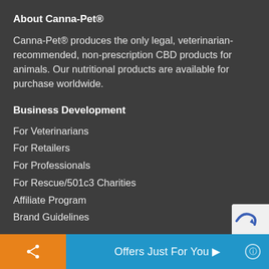About Canna-Pet®
Canna-Pet® produces the only legal, veterinarian-recommended, non-prescription CBD products for animals. Our nutritional products are available for purchase worldwide.
Business Development
For Veterinarians
For Retailers
For Professionals
For Rescue/501c3 Charities
Affiliate Program
Brand Guidelines
Offers Just For You ▶